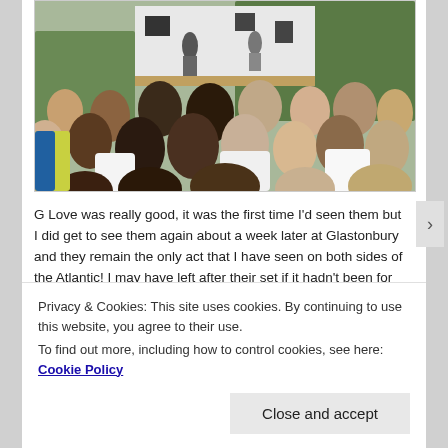[Figure (photo): Outdoor music festival scene showing a crowd of people from behind watching performers on a stage, with trees in the background and a white stage backdrop.]
G Love was really good, it was the first time I'd seen them but I did get to see them again about a week later at Glastonbury and they remain the only act that I have seen on both sides of the Atlantic! I may have left after their set if it hadn't been for what happened on my way to get a beer. I was walking across the arena when I heard
Privacy & Cookies: This site uses cookies. By continuing to use this website, you agree to their use.
To find out more, including how to control cookies, see here: Cookie Policy
Close and accept